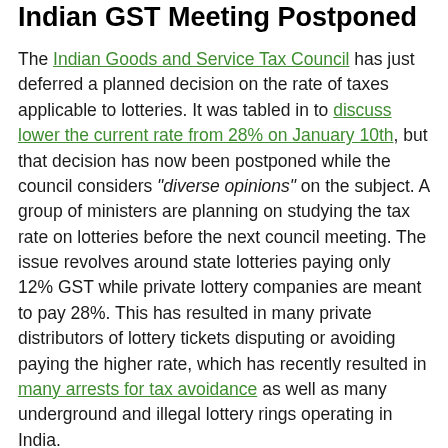Indian GST Meeting Postponed
The Indian Goods and Service Tax Council has just deferred a planned decision on the rate of taxes applicable to lotteries. It was tabled in to discuss lower the current rate from 28% on January 10th, but that decision has now been postponed while the council considers “diverse opinions” on the subject. A group of ministers are planning on studying the tax rate on lotteries before the next council meeting. The issue revolves around state lotteries paying only 12% GST while private lottery companies are meant to pay 28%. This has resulted in many private distributors of lottery tickets disputing or avoiding paying the higher rate, which has recently resulted in many arrests for tax avoidance as well as many underground and illegal lottery rings operating in India.
Global Lotteries
As January gets well underway in 2019 we have a UK Lottery double rollover take the jackpot to £7.3 million. The